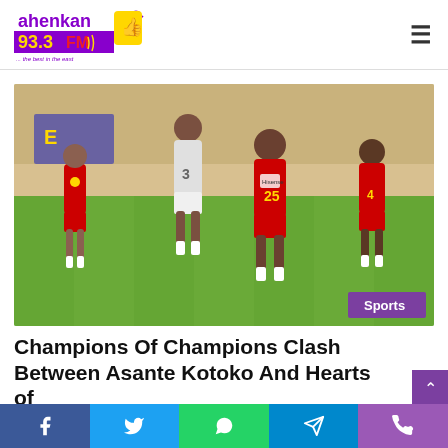ahenkan 93.3 FM
[Figure (photo): Football match photo showing players in red Asante Kotoko jerseys and white Hearts of Oak jerseys running on a football field during a match. A 'Sports' badge appears in the bottom right corner of the image.]
Champions Of Champions Clash Between Asante Kotoko And Hearts of
[Figure (other): Social media sharing bar at bottom with Facebook, Twitter, WhatsApp, Telegram, and phone share buttons]